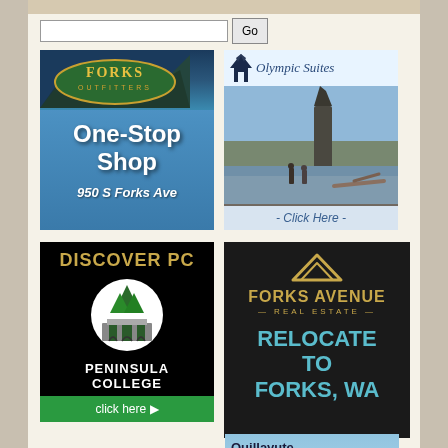[Figure (screenshot): Search bar with text input and Go button]
[Figure (illustration): Forks Outfitters advertisement - One-Stop Shop, 950 S Forks Ave]
[Figure (illustration): Olympic Suites advertisement with coastal rock photo - Click Here]
[Figure (illustration): Discover PC - Peninsula College advertisement with click here button]
[Figure (illustration): Forks Avenue Real Estate - Relocate to Forks, WA advertisement]
[Figure (illustration): Quillayute River Resort advertisement (partially visible)]